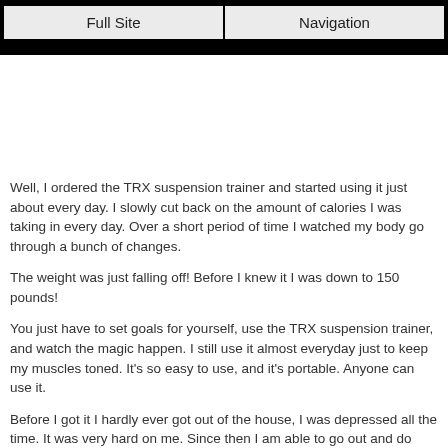Full Site | Navigation
Well, I ordered the TRX suspension trainer and started using it just about every day. I slowly cut back on the amount of calories I was taking in every day. Over a short period of time I watched my body go through a bunch of changes.
The weight was just falling off! Before I knew it I was down to 150 pounds!
You just have to set goals for yourself, use the TRX suspension trainer, and watch the magic happen. I still use it almost everyday just to keep my muscles toned. It's so easy to use, and it's portable. Anyone can use it.
Before I got it I hardly ever got out of the house, I was depressed all the time. It was very hard on me. Since then I am able to go out and do things. I feel like people are more into me now.